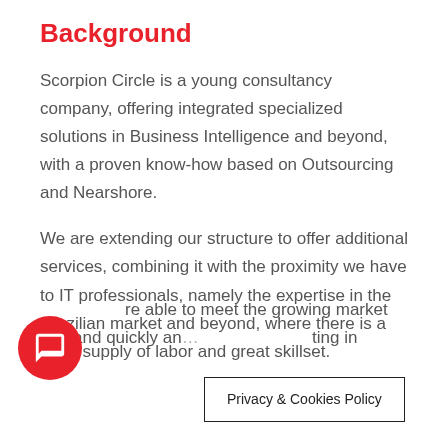Background
Scorpion Circle is a young consultancy company, offering integrated specialized solutions in Business Intelligence and beyond, with a proven know-how based on Outsourcing and Nearshore.
We are extending our structure to offer additional services, combining it with the proximity we have to IT professionals, namely the expertise in the Brazilian market and beyond, where there is a large supply of labor and great skillset.
…re able to meet the growing market demand quickly an… ting in
[Figure (other): Red circular chat bubble icon at bottom left]
Privacy & Cookies Policy